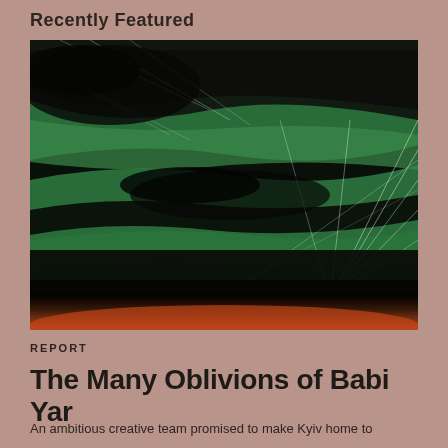Recently Featured
[Figure (illustration): A dark artistic illustration with green and black tones showing a ravine or landscape, with white geometric lines overlaid. The bottom portion has an orange-red gradient glow. The image has a halftone/textured aesthetic.]
REPORT
The Many Oblivions of Babi Yar
An ambitious creative team promised to make Kyiv home to